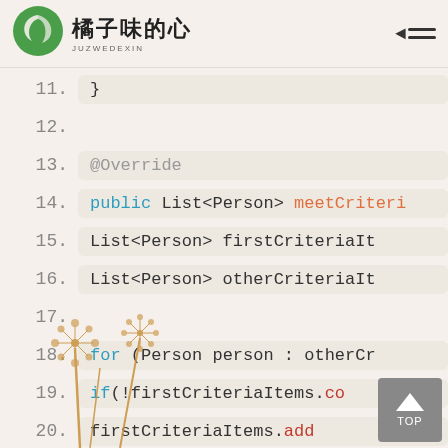橘子味的心 JUZWEDEXIN
[Figure (screenshot): Java code snippet showing lines 11-25 of a class method. Lines include @Override annotation, public List<Person> meetCriteri method, List<Person> firstCriteriaIt, List<Person> otherCriteriaIt, for loop with Person person : otherCr, if(!firstCriteriaItems.co, firstCriteriaItems.add, closing braces, return firstCriteriaItem, and closing braces. Dandelion illustration in bottom-left corner. TOP navigation button in bottom-right.]